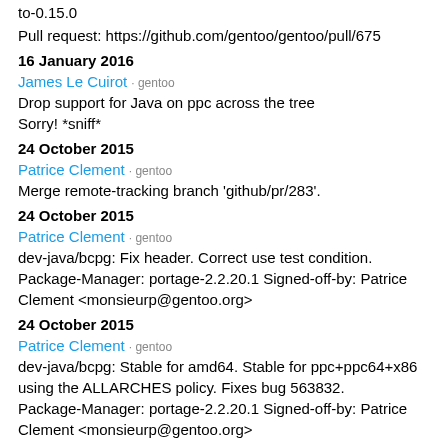to-0.15.0
Pull request: https://github.com/gentoo/gentoo/pull/675
16 January 2016
James Le Cuirot · gentoo
Drop support for Java on ppc across the tree
Sorry! *sniff*
24 October 2015
Patrice Clement · gentoo
Merge remote-tracking branch 'github/pr/283'.
24 October 2015
Patrice Clement · gentoo
dev-java/bcpg: Fix header. Correct use test condition.
Package-Manager: portage-2.2.20.1 Signed-off-by: Patrice Clement <monsieurp@gentoo.org>
24 October 2015
Patrice Clement · gentoo
dev-java/bcpg: Stable for amd64. Stable for ppc+ppc64+x86 using the ALLARCHES policy. Fixes bug 563832.
Package-Manager: portage-2.2.20.1 Signed-off-by: Patrice Clement <monsieurp@gentoo.org>
08 October 2015
Patrice Clement · gentoo
dev-java/bcpg: Stable for amd64. Stable for ...